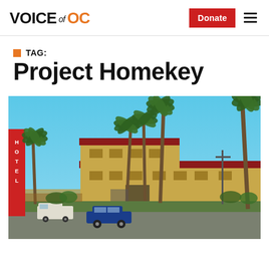VOICE of OC
TAG: Project Homekey
[Figure (photo): Exterior photo of a motel with palm trees, a blue convertible car in the foreground, palm trees along the street, a white van visible on the left, and a red/yellow motel building with a two-story structure on the right. Clear blue sky in the background.]